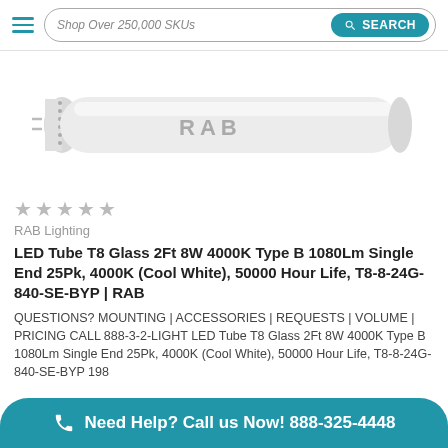Shop Over 250,000 SKUs  SEARCH
[Figure (photo): RAB LED tube T8 fluorescent lamp product image, white, horizontal orientation]
★★★★★
RAB Lighting
LED Tube T8 Glass 2Ft 8W 4000K Type B 1080Lm Single End 25Pk, 4000K (Cool White), 50000 Hour Life, T8-8-24G-840-SE-BYP | RAB
QUESTIONS? MOUNTING | ACCESSORIES | REQUESTS | VOLUME | PRICING CALL 888-3-2-LIGHT LED Tube T8 Glass 2Ft 8W 4000K Type B 1080Lm Single End 25Pk, 4000K (Cool White), 50000 Hour Life, T8-8-24G-840-SE-BYP 198…
Need Help? Call us Now! 888-325-4448